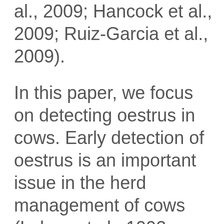al., 2009; Hancock et al., 2009; Ruiz-Garcia et al., 2009).
In this paper, we focus on detecting oestrus in cows. Early detection of oestrus is an important issue in the herd management of cows (Lehrer et al., 1992; Jiménez et al., 2011; Firk et